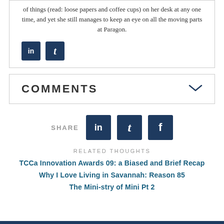of things (read: loose papers and coffee cups) on her desk at any one time, and yet she still manages to keep an eye on all the moving parts at Paragon.
[Figure (infographic): LinkedIn and Twitter social media icon buttons (dark navy square icons)]
COMMENTS
[Figure (infographic): Share section with LinkedIn, Twitter, and Facebook icon buttons]
RELATED THOUGHTS
TCCa Innovation Awards 09: a Biased and Brief Recap
Why I Love Living in Savannah: Reason 85
The Mini-stry of Mini Pt 2